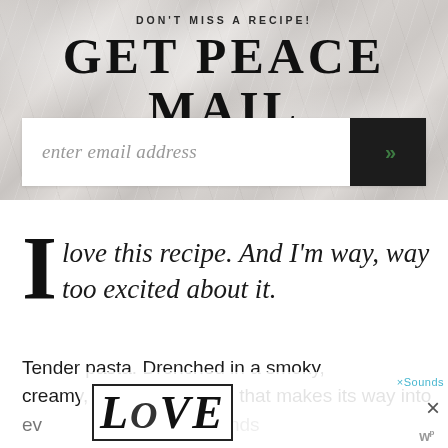DON'T MISS A RECIPE!
GET PEACE MAIL
[Figure (screenshot): Email subscription input field with placeholder 'enter email address' and a dark button with green double chevron (>>) on a marble/stone textured background]
I love this recipe. And I'm way, way too excited about it.
Tender pasta. Drenched in a smoky, creamy, goldenrod sauce that makes its way into ev... a l...
[Figure (infographic): Advertisement overlay at the bottom showing decorative LOVE text artwork with a close button (x) and 'Sounds' text and a logo watermark]